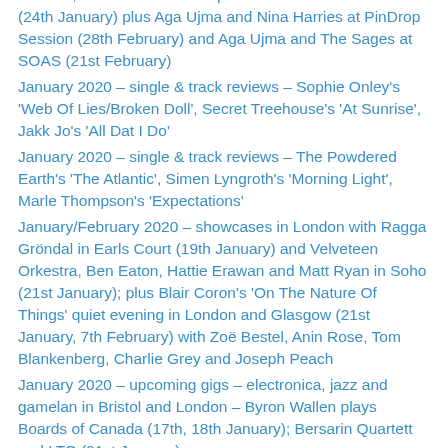songwriter/experimental gigs – Aga Ujma, Yoni Silver, Yael Roberts, Merlin Nova and Sophie Le Roux at Mortal Oil 2 (24th January) plus Aga Ujma and Nina Harries at PinDrop Session (28th February) and Aga Ujma and The Sages at SOAS (21st February)
January 2020 – single & track reviews – Sophie Onley's 'Web Of Lies/Broken Doll', Secret Treehouse's 'At Sunrise', Jakk Jo's 'All Dat I Do'
January 2020 – single & track reviews – The Powdered Earth's 'The Atlantic', Simen Lyngroth's 'Morning Light', Marle Thompson's 'Expectations'
January/February 2020 – showcases in London with Ragga Gröndal in Earls Court (19th January) and Velveteen Orkestra, Ben Eaton, Hattie Erawan and Matt Ryan in Soho (21st January); plus Blair Coron's 'On The Nature Of Things' quiet evening in London and Glasgow (21st January, 7th February) with Zoë Bestel, Anin Rose, Tom Blankenberg, Charlie Grey and Joseph Peach
January 2020 – upcoming gigs – electronica, jazz and gamelan in Bristol and London – Byron Wallen plays Boards of Canada (17th, 18th January); Bersarin Quartett and LTO (21st January)
January 2020 – various classical concerts in Britain – Manchester